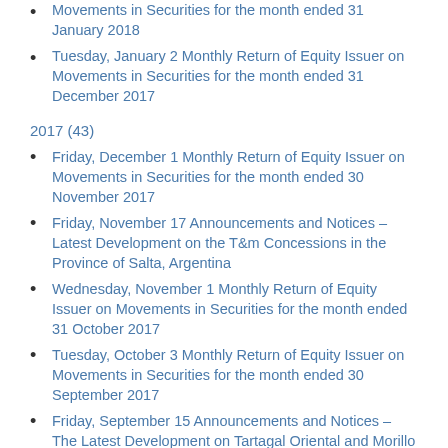Movements in Securities for the month ended 31 January 2018
Tuesday, January 2 Monthly Return of Equity Issuer on Movements in Securities for the month ended 31 December 2017
2017 (43)
Friday, December 1 Monthly Return of Equity Issuer on Movements in Securities for the month ended 30 November 2017
Friday, November 17 Announcements and Notices – Latest Development on the T&m Concessions in the Province of Salta, Argentina
Wednesday, November 1 Monthly Return of Equity Issuer on Movements in Securities for the month ended 31 October 2017
Tuesday, October 3 Monthly Return of Equity Issuer on Movements in Securities for the month ended 30 September 2017
Friday, September 15 Announcements and Notices – The Latest Development on Tartagal Oriental and Morillo